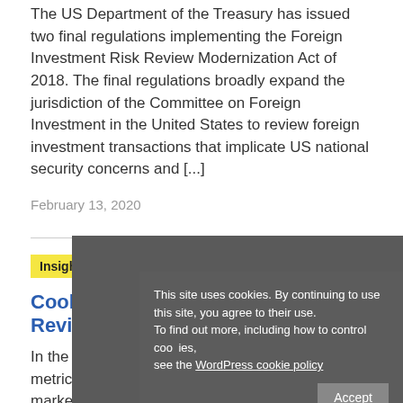The US Department of the Treasury has issued two final regulations implementing the Foreign Investment Risk Review Modernization Act of 2018. The final regulations broadly expand the jurisdiction of the Committee on Foreign Investment in the United States to review foreign investment transactions that implicate US national security concerns and [...]
February 13, 2020
Insight / Market Updates
Cooley's 2019 Tech M&A Year in Review ›
In the wake of record-setting volume and value metrics in 2018, practitioners entered the deal market with healthy skepticism. Despite a slight downward tick in momentum
[Figure (screenshot): Cookie consent overlay on dark grey background reading: This site uses cookies. By continuing to use this site, you agree to their use. To find out more, including how to control cookies, see the WordPress cookie policy. Accept button on the right.]